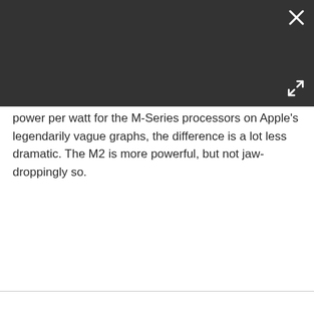[Figure (screenshot): Dark gray overlay bar with a white X close button in the top-right corner and a white expand/fullscreen icon in the bottom-right corner of the bar]
power per watt for the M-Series processors on Apple's legendarily vague graphs, the difference is a lot less dramatic. The M2 is more powerful, but not jaw-droppingly so.